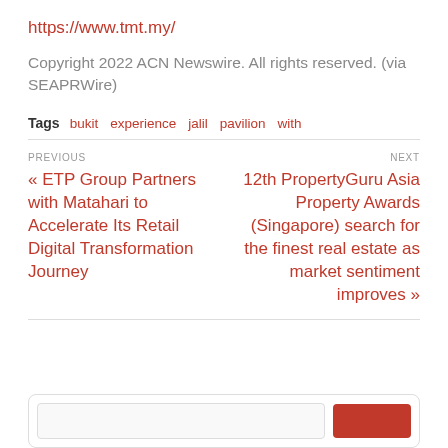https://www.tmt.my/
Copyright 2022 ACN Newswire. All rights reserved. (via SEAPRWire)
Tags  bukit  experience  jalil  pavilion  with
PREVIOUS
« ETP Group Partners with Matahari to Accelerate Its Retail Digital Transformation Journey
NEXT
12th PropertyGuru Asia Property Awards (Singapore) search for the finest real estate as market sentiment improves »
[Figure (other): Search box area with input field and red search button at bottom of page]